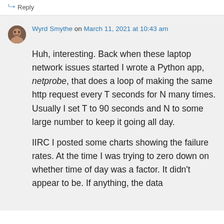Reply
Wyrd Smythe on March 11, 2021 at 10:43 am
Huh, interesting. Back when these laptop network issues started I wrote a Python app, netprobe, that does a loop of making the same http request every T seconds for N many times. Usually I set T to 90 seconds and N to some large number to keep it going all day.
IIRC I posted some charts showing the failure rates. At the time I was trying to zero down on whether time of day was a factor. It didn't appear to be. If anything, the data